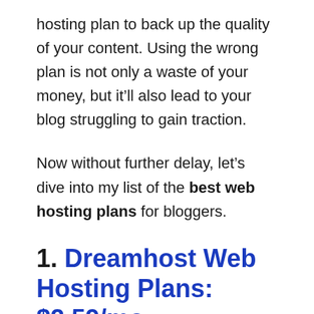hosting plan to back up the quality of your content. Using the wrong plan is not only a waste of your money, but it'll also lead to your blog struggling to gain traction.
Now without further delay, let's dive into my list of the best web hosting plans for bloggers.
1. Dreamhost Web Hosting Plans: $2.59/mo